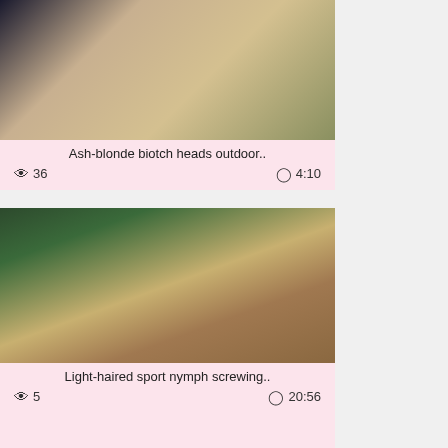[Figure (photo): Thumbnail image of ash-blonde outdoor scene]
Ash-blonde biotch heads outdoor..
👁 36   🕐 4:10
[Figure (photo): Thumbnail image of light-haired sport nymph scene]
Light-haired sport nymph screwing..
👁 5   🕐 20:56